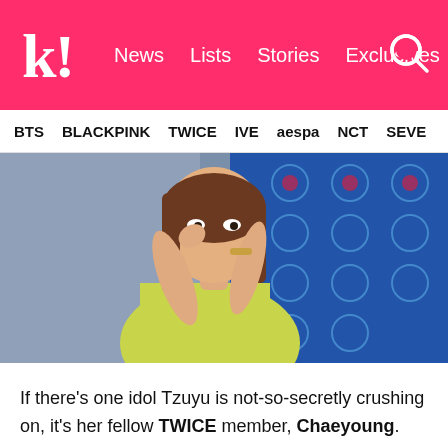k! News  Lists  Stories  Exclusives
BTS  BLACKPINK  TWICE  IVE  aespa  NCT  SEVE
[Figure (photo): A young woman with long brown hair in a yellow top posing with hands together near face, with blue patterned fabric in background]
If there's one idol Tzuyu is not-so-secretly crushing on, it's her fellow TWICE member, Chaeyoung.